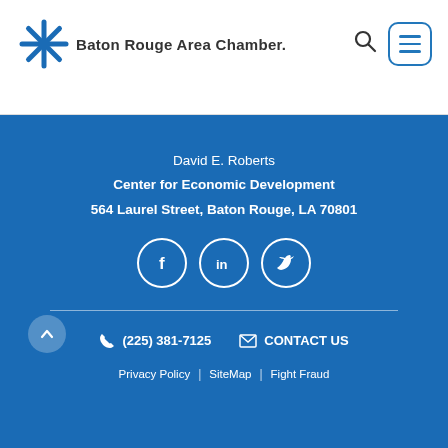Baton Rouge Area Chamber.
David E. Roberts
Center for Economic Development
564 Laurel Street, Baton Rouge, LA 70801
[Figure (infographic): Social media icons: Facebook, LinkedIn, Twitter in white circles]
(225) 381-7125  CONTACT US  Privacy Policy | SiteMap | Fight Fraud